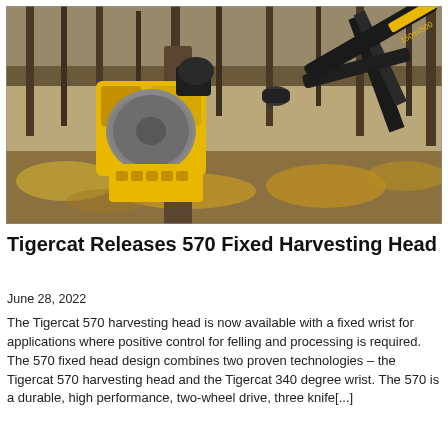[Figure (photo): A yellow Tigercat 570 fixed harvesting head mounted on a mechanical arm, gripping a tree trunk in an autumn forest with fallen leaves on the ground.]
Tigercat Releases 570 Fixed Harvesting Head
June 28, 2022
The Tigercat 570 harvesting head is now available with a fixed wrist for applications where positive control for felling and processing is required. The 570 fixed head design combines two proven technologies – the Tigercat 570 harvesting head and the Tigercat 340 degree wrist. The 570 is a durable, high performance, two-wheel drive, three knife[...]